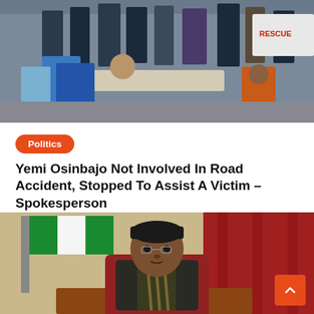[Figure (photo): Multiple people helping a person on a stretcher, with emergency responders and bystanders in suits. A RESCUE vehicle is visible in the background.]
Politics
Yemi Osinbajo Not Involved In Road Accident, Stopped To Assist A Victim – Spokesperson
Brainnews  6th June 2022  0
[Figure (photo): A man in a black kofia cap and dark attire sitting at a desk with a Nigerian flag and red curtain in the background.]